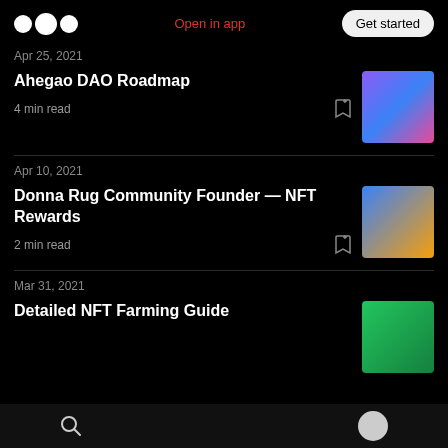Medium logo | Open in app | Get started
Apr 25, 2021
Ahegao DAO Roadmap
4 min read
[Figure (illustration): Colorful digital artwork with purple and blue tones]
Apr 10, 2021
Donna Rug Community Founder — NFT Rewards
2 min read
[Figure (illustration): Anime-style illustration with blue and orange tones]
Mar 31, 2021
Detailed NFT Farming Guide
[Figure (illustration): Green nature-themed digital artwork]